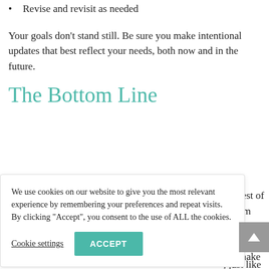Revise and revisit as needed
Your goals don't stand still. Be sure you make intentional updates that best reflect your needs, both now and in the future.
The Bottom Line
We use cookies on our website to give you the most relevant experience by remembering your preferences and repeat visits. By clicking "Accept", you consent to the use of ALL the cookies.
Cookie settings    ACCEPT
the rest of
e them
urpose
eeper into
nat make
create.

with a cute
, just like